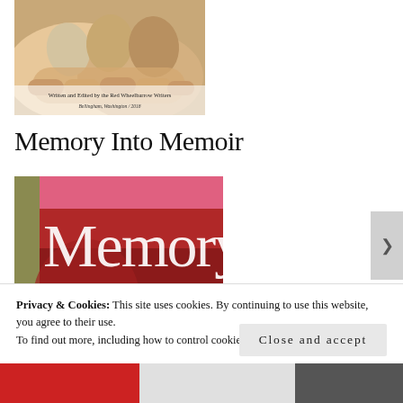[Figure (photo): Book cover showing hands holding eggs, with text 'Written and Edited by the Red Wheelbarrow Writers, Bellingham, Washington / 2018']
Memory Into Memoir
[Figure (photo): Book cover for 'Memory Into Memoir' showing large text on a red and pink background with a barn-like image]
Privacy & Cookies: This site uses cookies. By continuing to use this website, you agree to their use.
To find out more, including how to control cookies, see here: Cookie Policy
Close and accept